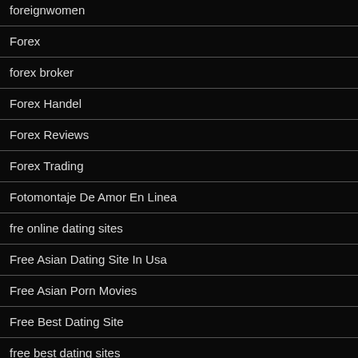foreignwomen
Forex
forex broker
Forex Handel
Forex Reviews
Forex Trading
Fotomontaje De Amor En Linea
fre online dating sites
Free Asian Dating Site In Usa
Free Asian Porn Movies
Free Best Dating Site
free best dating sites
free bonus online pokies